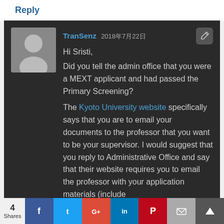Reply
TranSenz 2018年7月22日
Hi Sristi,

Did you tell the admin office that you were a MEXT applicant and had passed the Primary Screening?

The Kyoto University website specifically says that you are to email your documents to the professor that you want to be your supervisor. I would suggest that you reply to Administrative Office and say that their website requires you to email the professor with your application materials (include...